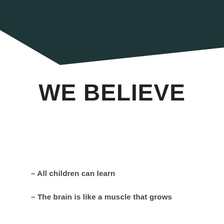[Figure (illustration): Dark teal/slate decorative angular shape covering the top portion of the page, like a diagonal swoosh or banner.]
WE BELIEVE
– All children can learn
– The brain is like a muscle that grows